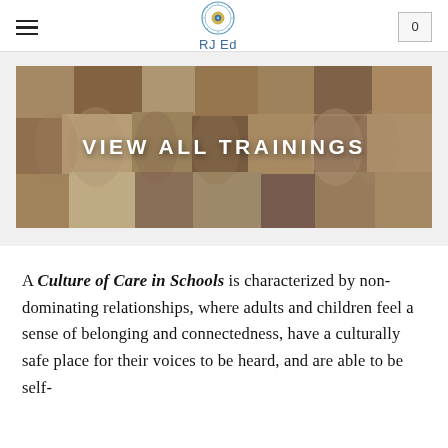RJ Ed
[Figure (illustration): Banner image showing a mosaic of paper face silhouettes in earth tones (beige, brown, terracotta, grey) with white text overlay reading VIEW ALL TRAININGS]
A Culture of Care in Schools is characterized by non-dominating relationships, where adults and children feel a sense of belonging and connectedness, have a culturally safe place for their voices to be heard, and are able to be self-